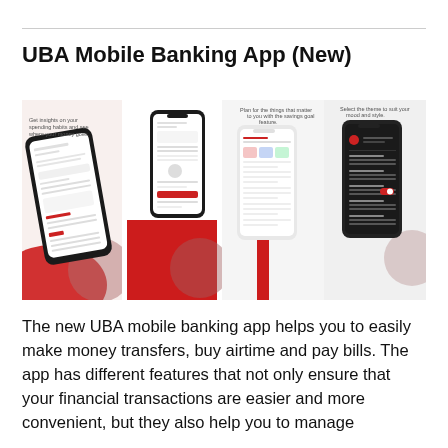UBA Mobile Banking App (New)
[Figure (screenshot): Four mobile app screenshots of the UBA mobile banking app showing different screens: spending insights, dashboard, savings goal feature, and dark/light mode settings.]
The new UBA mobile banking app helps you to easily make money transfers, buy airtime and pay bills. The app has different features that not only ensure that your financial transactions are easier and more convenient, but they also help you to manage